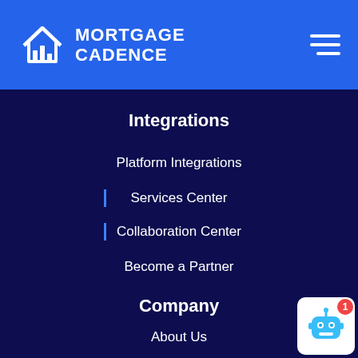MORTGAGE CADENCE
Integrations
Platform Integrations
Services Center
Collaboration Center
Become a Partner
Company
About Us
Our Leaders
Newsroom
Careers
[Figure (illustration): Chat bot widget with notification badge showing 1]